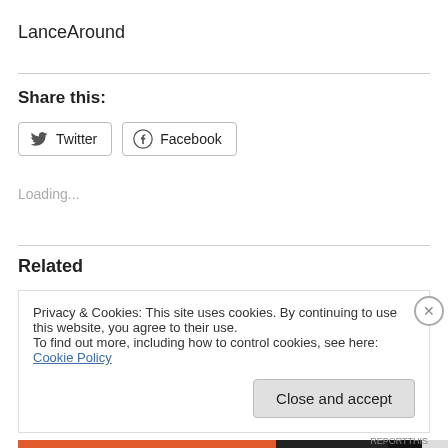LanceAround
Share this:
[Figure (other): Twitter and Facebook share buttons]
Loading...
Related
Privacy & Cookies: This site uses cookies. By continuing to use this website, you agree to their use.
To find out more, including how to control cookies, see here: Cookie Policy
Close and accept